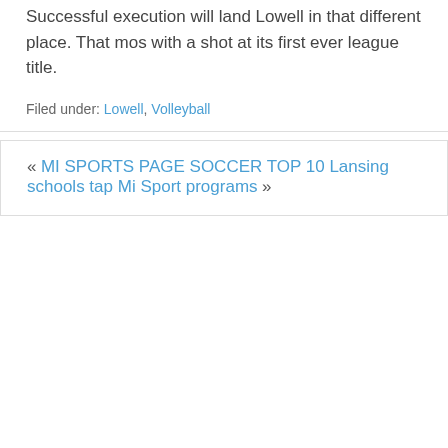Successful execution will land Lowell in that different place. That most with a shot at its first ever league title.
Filed under: Lowell, Volleyball
« MI SPORTS PAGE SOCCER TOP 10 Lansing schools tap Mi Spor programs »